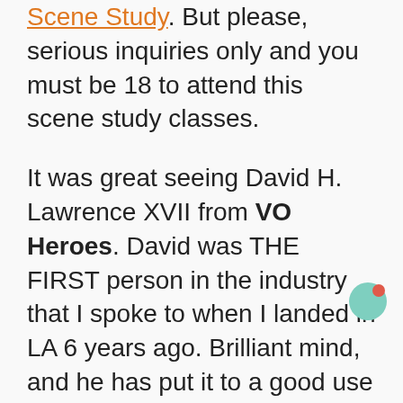Scene Study. But please, serious inquiries only and you must be 18 to attend this scene study classes.
It was great seeing David H. Lawrence XVII from VO Heroes. David was THE FIRST person in the industry that I spoke to when I landed in LA 6 years ago. Brilliant mind, and he has put it to a good use with his training program that will help you establish a profitable voice over practice. It ain't cheap, but David and Trevor give you access to all of their training forever for a one time fee. Dozens of